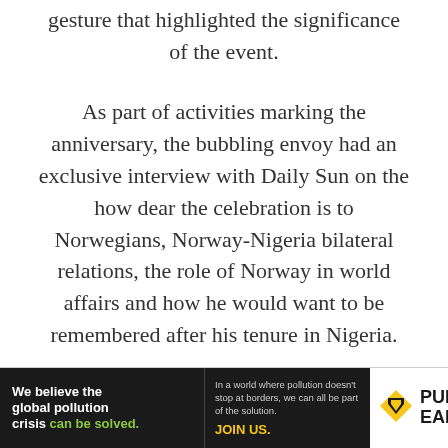gesture that highlighted the significance of the event.
As part of activities marking the anniversary, the bubbling envoy had an exclusive interview with Daily Sun on the how dear the celebration is to Norwegians, Norway-Nigeria bilateral relations, the role of Norway in world affairs and how he would want to be remembered after his tenure in Nigeria.
[Figure (other): Pure Earth advertisement banner: 'We believe the global pollution crisis can be solved.' with tagline about world pollution and JOIN US call to action, alongside Pure Earth logo with diamond/arrow icon.]